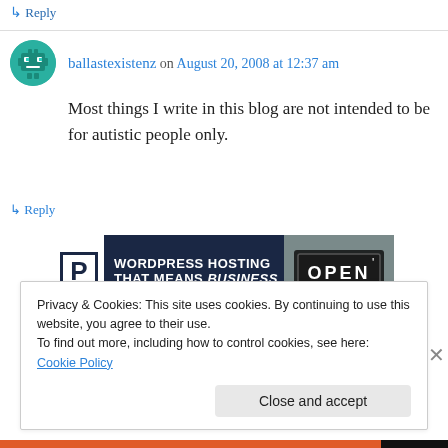↳ Reply
ballastexistenz on August 20, 2008 at 12:37 am
Most things I write in this blog are not intended to be for autistic people only.
↳ Reply
[Figure (infographic): WordPress hosting advertisement banner: dark navy background with white P logo box, text 'WORDPRESS HOSTING THAT MEANS BUSINESS.' and an OPEN sign photo on the right]
REPORT THIS AD
Privacy & Cookies: This site uses cookies. By continuing to use this website, you agree to their use.
To find out more, including how to control cookies, see here: Cookie Policy
Close and accept